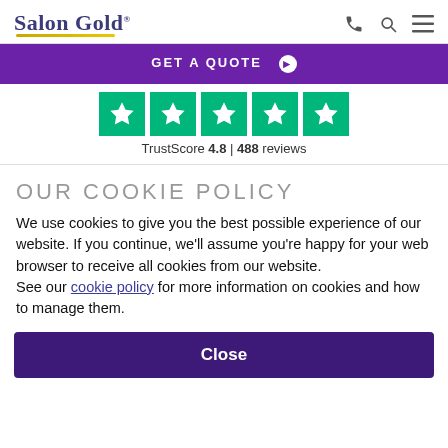Salon Gold® — navigation header with phone, search, and menu icons
[Figure (other): Purple GET A QUOTE banner with arrow icon]
[Figure (other): Trustpilot 5-star rating row — 5 green star boxes with white stars]
TrustScore 4.8 | 488 reviews
OUR COOKIE POLICY
We use cookies to give you the best possible experience of our website. If you continue, we'll assume you're happy for your web browser to receive all cookies from our website.
See our cookie policy for more information on cookies and how to manage them.
Close